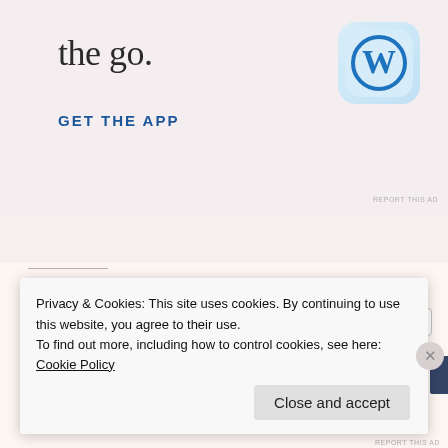[Figure (screenshot): App promotion banner with text 'the go.' and WordPress app icon]
GET THE APP
REPORT THIS AD
Share:
Pinterest
Email
Facebook
More
[Figure (screenshot): Like button with star icon and row of user avatar thumbnails]
Privacy & Cookies: This site uses cookies. By continuing to use this website, you agree to their use. To find out more, including how to control cookies, see here: Cookie Policy
Close and accept